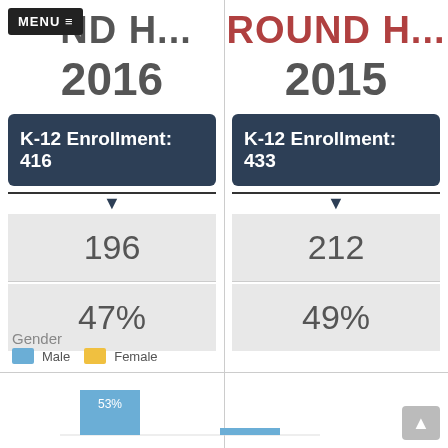MENU ≡ ND H... | ROUND H...
2016
2015
K-12 Enrollment: 416
K-12 Enrollment: 433
196
212
47%
49%
Gender
Male   Female
[Figure (bar-chart): Gender distribution]